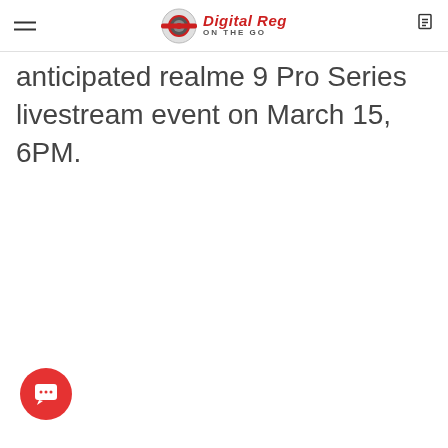Digital Reg On The Go
anticipated realme 9 Pro Series livestream event on March 15, 6PM.